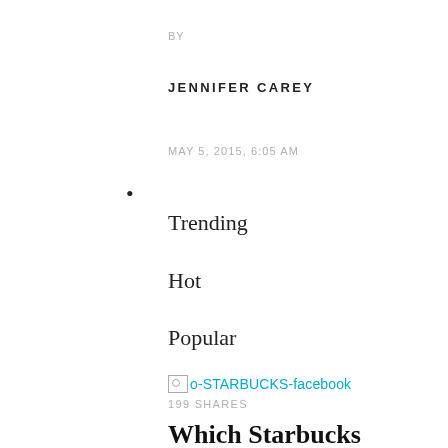BY
JENNIFER CAREY
MAY 5, 2015, 6:05 AM
Trending
Hot
Popular
[Figure (photo): Broken image placeholder for o-STARBUCKS-facebook]
199 SHARES
Which Starbucks drinks have the most caffeine?